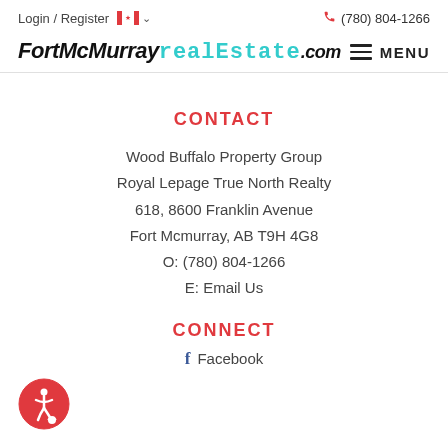Login / Register  🇨🇦 ∨  (780) 804-1266
FortMcMurray RealEstate .com
CONTACT
Wood Buffalo Property Group
Royal Lepage True North Realty
618, 8600 Franklin Avenue
Fort Mcmurray, AB T9H 4G8
O: (780) 804-1266
E: Email Us
CONNECT
Facebook